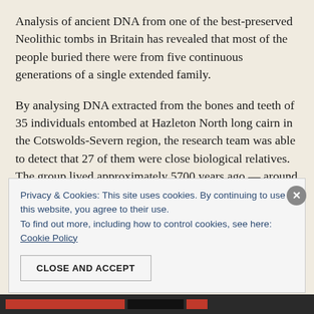Analysis of ancient DNA from one of the best-preserved Neolithic tombs in Britain has revealed that most of the people buried there were from five continuous generations of a single extended family.
By analysing DNA extracted from the bones and teeth of 35 individuals entombed at Hazleton North long cairn in the Cotswolds-Severn region, the research team was able to detect that 27 of them were close biological relatives. The group lived approximately 5700 years ago — around 3700-3600 BC — around 100 years after farming
Privacy & Cookies: This site uses cookies. By continuing to use this website, you agree to their use.
To find out more, including how to control cookies, see here: Cookie Policy
CLOSE AND ACCEPT